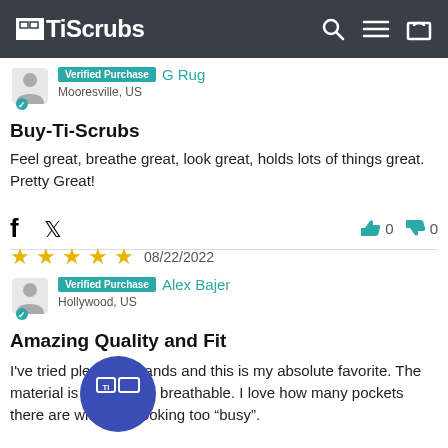[Figure (logo): TiScrubs logo and navigation header with search, hamburger menu, and cart icons on dark background]
Verified Purchase  G Rug
Mooresville, US
Buy-Ti-Scrubs
Feel great, breathe great, look great, holds lots of things great. Pretty Great!
[Figure (infographic): Social share icons (Facebook, Twitter) and thumbs up/down vote counts (0, 0)]
[Figure (infographic): 5 gold stars rating with date 08/22/2022]
Verified Purchase  Alex Bajer
Hollywood, US
Amazing Quality and Fit
I've tried plenty of brands and this is my absolute favorite. The material is so soft and breathable. I love how many pockets there are without it looking too "busy".